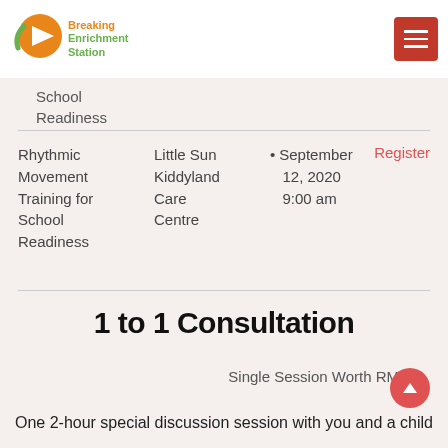Breaking Enrichment Station [logo] [hamburger menu]
School Readiness
|  |  |  |  |
| --- | --- | --- | --- |
| Rhythmic Movement Training for School Readiness | Little Sun Kiddyland Care Centre | September 12, 2020 9:00 am | Register |
1 to 1 Consultation
Single Session Worth RM200
One 2-hour special discussion session with you and a child